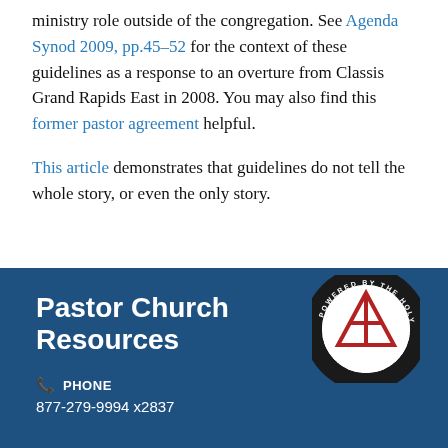ministry role outside of the congregation. See Agenda Synod 2009, pp.45-52 for the context of these guidelines as a response to an overture from Classis Grand Rapids East in 2008. You may also find this former pastor agreement helpful.
This article demonstrates that guidelines do not tell the whole story, or even the only story.
Pastor Church Resources
PHONE
877-279-9994 x2837
[Figure (logo): Circular logo with red triangle/cross symbol inside, text around the border reading 'POWERED BY THE HOLY SPIRIT' and 'SUPPORTED BY MINISTRY SHARES', white and dark blue background]